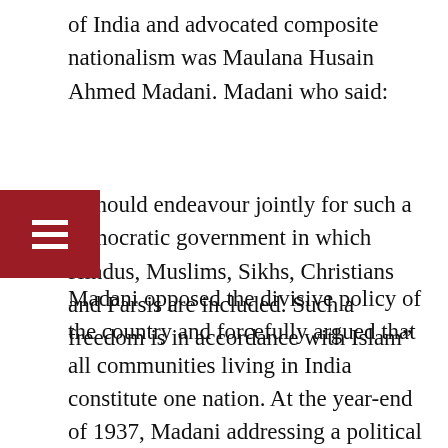of India and advocated composite nationalism was Maulana Husain Ahmed Madani. Madani who said:
All should endeavour jointly for such a democratic government in which Hindus, Muslims, Sikhs, Christians and Parsis are included. Such a freedom is in accordance with Islam”
Madani opposed the divisive policy of the country and forcefully argued that all communities living in India constitute one nation. At the year-end of 1937, Madani addressing a political meeting in Delhi made a few very strong points. He said:-